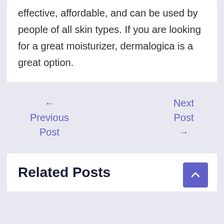effective, affordable, and can be used by people of all skin types. If you are looking for a great moisturizer, dermalogica is a great option.
← Previous Post
Next Post →
Related Posts